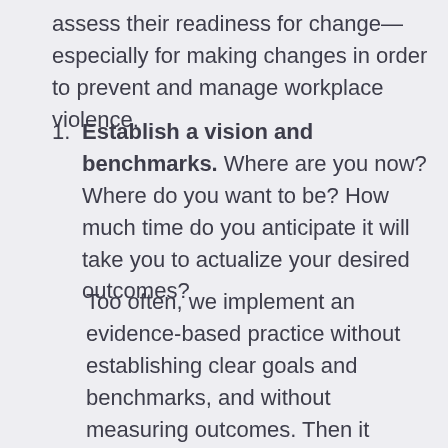assess their readiness for change—especially for making changes in order to prevent and manage workplace violence.
Establish a vision and benchmarks. Where are you now? Where do you want to be? How much time do you anticipate it will take you to actualize your desired outcomes?
Too often, we implement an evidence-based practice without establishing clear goals and benchmarks, and without measuring outcomes. Then it becomes difficult to gain buy-in and to support the implementation over time